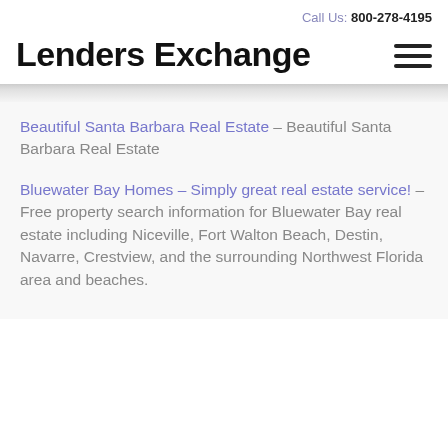Call Us: 800-278-4195
Lenders Exchange
Beautiful Santa Barbara Real Estate – Beautiful Santa Barbara Real Estate
Bluewater Bay Homes – Simply great real estate service! – Free property search information for Bluewater Bay real estate including Niceville, Fort Walton Beach, Destin, Navarre, Crestview, and the surrounding Northwest Florida area and beaches.